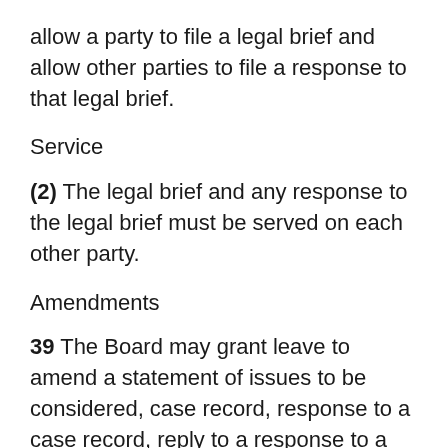allow a party to file a legal brief and allow other parties to file a response to that legal brief.
Service
(2) The legal brief and any response to the legal brief must be served on each other party.
Amendments
39 The Board may grant leave to amend a statement of issues to be considered, case record, response to a case record, reply to a response to a case record, legal brief or